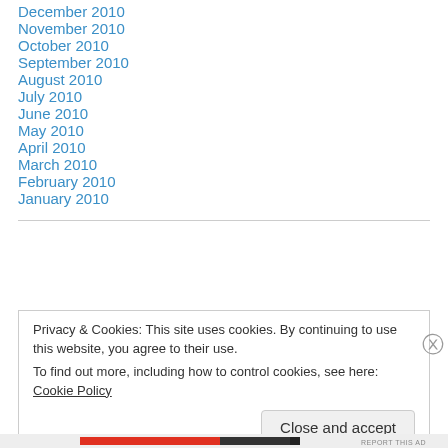December 2010
November 2010
October 2010
September 2010
August 2010
July 2010
June 2010
May 2010
April 2010
March 2010
February 2010
January 2010
Privacy & Cookies: This site uses cookies. By continuing to use this website, you agree to their use.
To find out more, including how to control cookies, see here: Cookie Policy
Close and accept